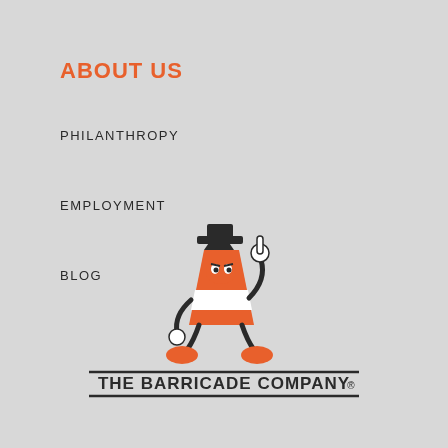ABOUT US
PHILANTHROPY
EMPLOYMENT
BLOG
[Figure (logo): The Barricade Company logo: cartoon traffic cone mascot character with white-gloved hand pointing upward, wearing orange and white cone body with black hat and orange shoes, standing above a horizontal rule, with company name 'THE BARRICADE COMPANY' in bold black text between two horizontal rules]